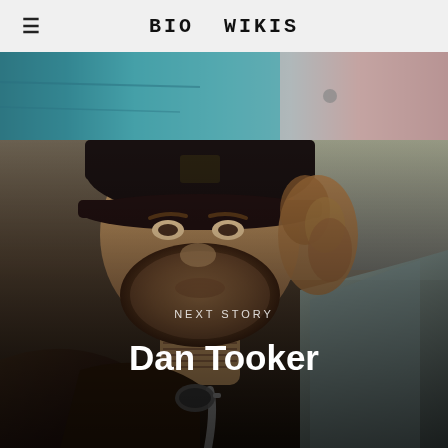BIO WIKIS
[Figure (photo): Partial photo showing teal/mint colored clothing at the top of the page]
[Figure (photo): Man with beard wearing a black cap sitting in a car, serving as background for the 'Next Story' teaser with text overlay]
NEXT STORY
Dan Tooker